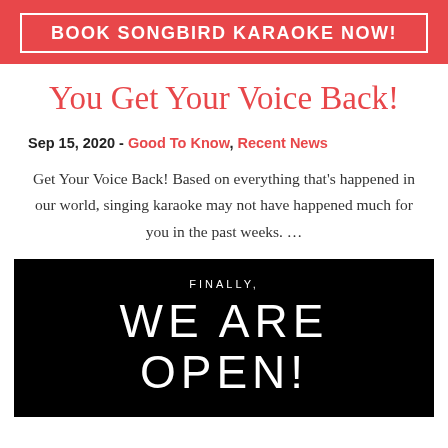BOOK SONGBIRD KARAOKE NOW!
You Get Your Voice Back!
Sep 15, 2020 - Good To Know, Recent News
Get Your Voice Back! Based on everything that's happened in our world, singing karaoke may not have happened much for you in the past weeks. …
[Figure (photo): Black background sign with white text reading 'FINALLY, WE ARE OPEN!']